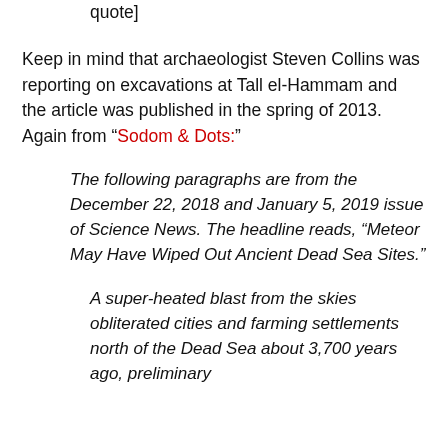gives the city's name: Sodom. [End of quote]
Keep in mind that archaeologist Steven Collins was reporting on excavations at Tall el-Hammam and the article was published in the spring of 2013.  Again from “Sodom & Dots:”
The following paragraphs are from the December 22, 2018 and January 5, 2019 issue of Science News. The headline reads, “Meteor May Have Wiped Out Ancient Dead Sea Sites.”
A super-heated blast from the skies obliterated cities and farming settlements north of the Dead Sea about 3,700 years ago, preliminary